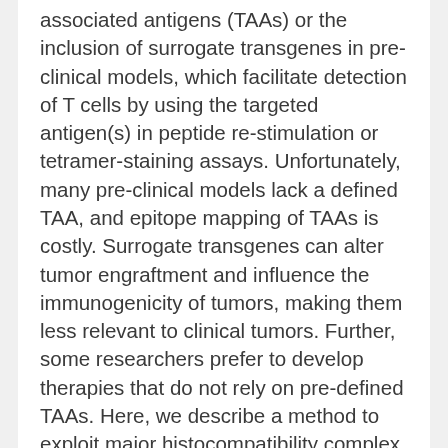associated antigens (TAAs) or the inclusion of surrogate transgenes in pre-clinical models, which facilitate detection of T cells by using the targeted antigen(s) in peptide re-stimulation or tetramer-staining assays. Unfortunately, many pre-clinical models lack a defined TAA, and epitope mapping of TAAs is costly. Surrogate transgenes can alter tumor engraftment and influence the immunogenicity of tumors, making them less relevant to clinical tumors. Further, some researchers prefer to develop therapies that do not rely on pre-defined TAAs. Here, we describe a method to exploit major histocompatibility complex expression on murine cancer cell lines in a co-culture assay to detect T cells responding to bulk, undefined, tumor antigens. This is a tool to support the preclinical evaluation of novel, antigen-agnostic immunotherapies.